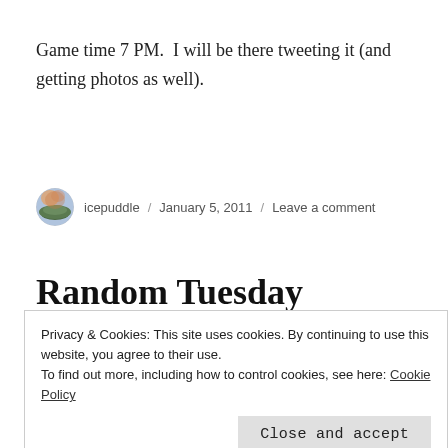Game time 7 PM.  I will be there tweeting it (and getting photos as well).
icepuddle / January 5, 2011 / Leave a comment
Random Tuesday Thoughts...
Privacy & Cookies: This site uses cookies. By continuing to use this website, you agree to their use.
To find out more, including how to control cookies, see here: Cookie Policy
Close and accept
Box?  It's sort of a take on "thinking outside the box."